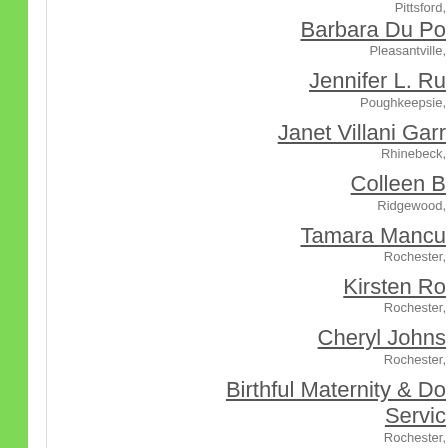Pittsford,
Barbara Du Po
Pleasantville,
Jennifer L. Ru
Poughkeepsie,
Janet Villani Garr
Rhinebeck,
Colleen B
Ridgewood,
Tamara Mancu
Rochester,
Kirsten Ro
Rochester,
Cheryl Johns
Rochester,
Birthful Maternity & Do
Servic
Rochester,
Big Apple Do
rosedale,
Hudson Valley Do
Saugerties,